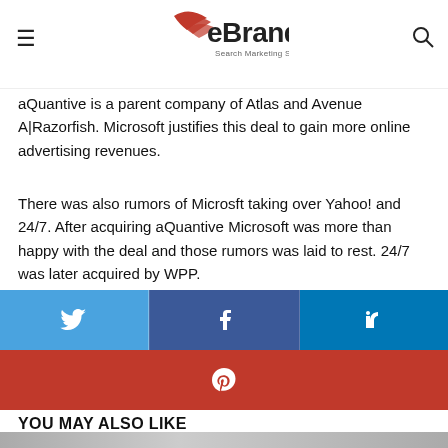eBrandz - Search Marketing Services
aQuantive is a parent company of Atlas and Avenue A|Razorfish. Microsoft justifies this deal to gain more online advertising revenues.
There was also rumors of Microsft taking over Yahoo! and 24/7. After acquiring aQuantive Microsoft was more than happy with the deal and those rumors was laid to rest. 24/7 was later acquired by WPP.
[Figure (infographic): Social share buttons: Twitter (light blue), Facebook (dark blue), LinkedIn (blue), Pinterest (red)]
YOU MAY ALSO LIKE
[Figure (photo): Blurred photo of books/objects including one labeled TOKYO]